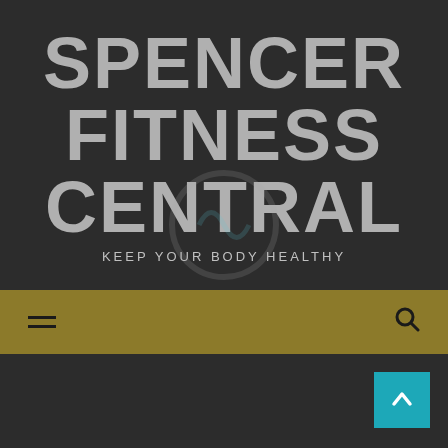SPENCER FITNESS CENTRAL
KEEP YOUR BODY HEALTHY
[Figure (logo): Navigation bar with hamburger menu icon on the left and search icon on the right, on a golden/dark yellow background]
Health News
Healthcare Information